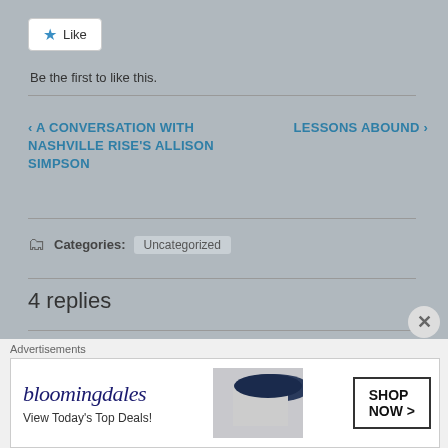[Figure (other): Like button with star icon]
Be the first to like this.
‹ A CONVERSATION WITH NASHVILLE RISE'S ALLISON SIMPSON
LESSONS ABOUND ›
Categories: Uncategorized
4 replies
Mrs_O'Shea
January 26, 2018 • 1:03 pm
[Figure (other): User avatar for Mrs_O'Shea — green geometric pattern]
Advertisements
[Figure (other): Bloomingdale's advertisement banner — View Today's Top Deals! SHOP NOW >]